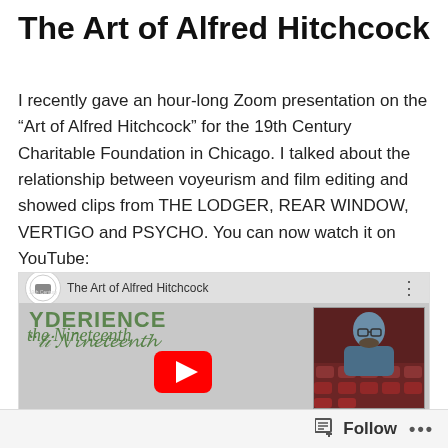The Art of Alfred Hitchcock
I recently gave an hour-long Zoom presentation on the “Art of Alfred Hitchcock” for the 19th Century Charitable Foundation in Chicago. I talked about the relationship between voyeurism and film editing and showed clips from THE LODGER, REAR WINDOW, VERTIGO and PSYCHO. You can now watch it on YouTube:
[Figure (screenshot): YouTube video embed showing 'The Art of Alfred Hitchcock' video thumbnail with play button, dated Monday, February 22, 2021, with presenter photo on the right side.]
Follow •••